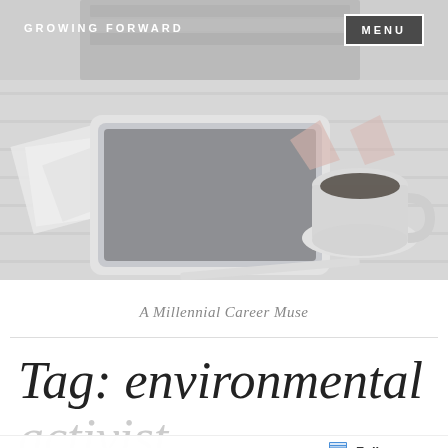[Figure (photo): A grayscale/muted photo of a desk with a tablet, coffee cup, papers, and pencils on a white wooden surface. Books stacked in background.]
GROWING FORWARD
MENU
A Millennial Career Muse
Tag: environmental
activist